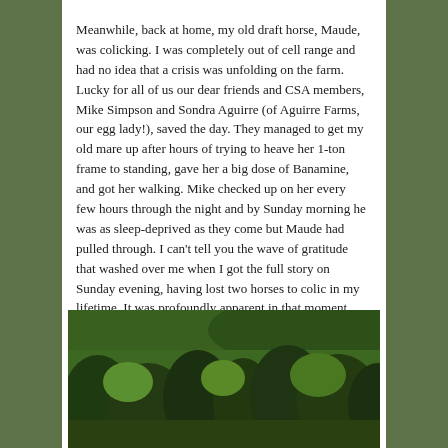Meanwhile, back at home, my old draft horse, Maude, was colicking. I was completely out of cell range and had no idea that a crisis was unfolding on the farm. Lucky for all of us our dear friends and CSA members, Mike Simpson and Sondra Aguirre (of Aguirre Farms, our egg lady!), saved the day. They managed to get my old mare up after hours of trying to heave her 1-ton frame to standing, gave her a big dose of Banamine, and got her walking. Mike checked up on her every few hours through the night and by Sunday morning he was as sleep-deprived as they come but Maude had pulled through. I can't tell you the wave of gratitude that washed over me when I got the full story on Sunday evening, having lost two horses to colic in my lifetime. It was profoundly apparent in that moment that our "team" includes so many people beyond our core crew, and how it really takes a village to feed a community. Mike and Sondra, thank you!
[Figure (photo): A landscape photo showing forested green hills with trees in spring foliage and a blue sky visible in the upper right corner.]